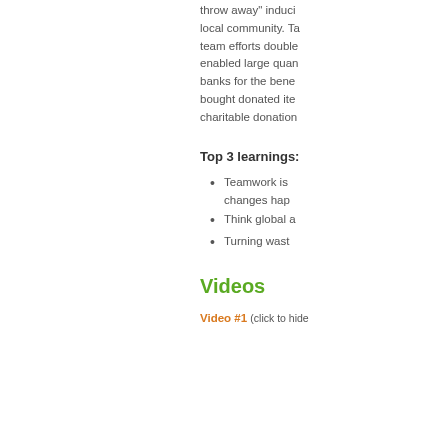throw away" inducing local community. Ta team efforts double enabled large quan banks for the bene bought donated ite charitable donation
Top 3 learnings:
Teamwork is changes hap
Think global a
Turning wast
Videos
Video #1 (click to hide